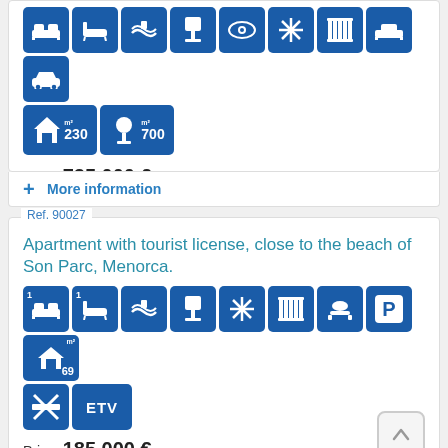[Figure (infographic): Property icons row: bedroom, bathroom, pool, dining, eye/360, snowflake/AC, radiator, bed, car. Below: house 230m2, garden 700m2 icons.]
Price:  725.000 €
+ More information
Ref. 90027
Apartment with tourist license, close to the beach of Son Parc, Menorca.
[Figure (infographic): Property icons: 1 bedroom, 1 bathroom, pool, dining chair, snowflake/AC, radiator, sunbed, P/parking, house 69m2, cross/no-something, ETV tourist license badge.]
Price:  185.000 €
+ More information